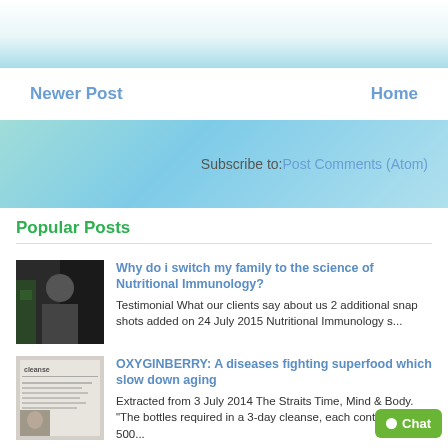[Figure (illustration): Top decorative banner with gradient from white to teal/blue]
Newer Post    Home
Subscribe to: Post Comments (Atom)
Popular Posts
[Figure (photo): Thumbnail photo of a woman near a Christmas tree]
Why do i switch my family to the science of Nutritional Immunology?
Testimonial  What our clients say about us 2 additional snap shots added on 24 July 2015 Nutritional Immunology  s...
[Figure (photo): Thumbnail of a newspaper clipping about cleanse]
OXYGINBERRY: A diseases fighting superfood which slow down aging
Extracted from 3 July 2014 The Straits Time, Mind & Body. "The bottles required in a 3-day cleanse, each containing 500...